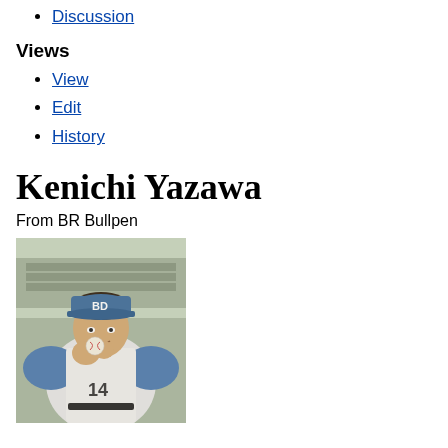Discussion
Views
View
Edit
History
Kenichi Yazawa
From BR Bullpen
[Figure (photo): Photo of Kenichi Yazawa in a blue baseball uniform with cap, holding a baseball, posed in a pitching stance at a stadium]